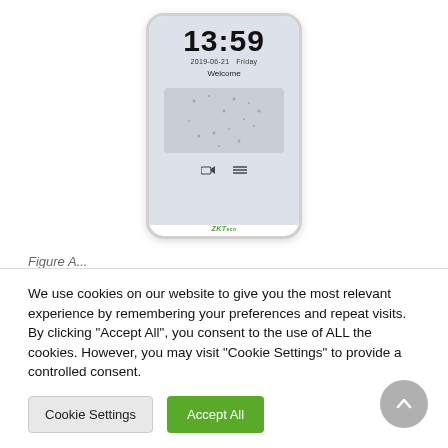[Figure (screenshot): ZKTeco biometric device showing time 13:59, date 2019-06-21 Friday, Welcome message, face detection area, camera and menu buttons, and ZKTeco logo at bottom]
We use cookies on our website to give you the most relevant experience by remembering your preferences and repeat visits. By clicking "Accept All", you consent to the use of ALL the cookies. However, you may visit "Cookie Settings" to provide a controlled consent.